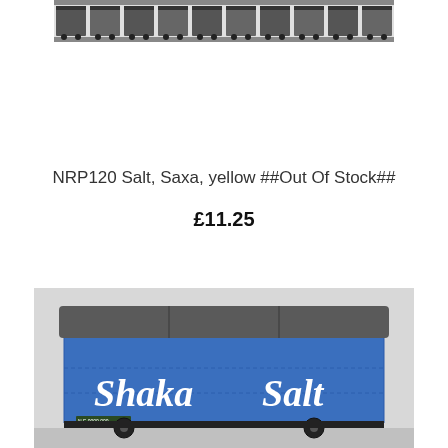[Figure (photo): Black and white strip photo showing a row of model railway wagons/hopper cars viewed from the side.]
NRP120 Salt, Saxa, yellow ##Out Of Stock##
£11.25
[Figure (photo): Colour photo of a blue model railway van/box wagon with 'Shaka Salt' written in white cursive lettering on its side. The wagon has a grey roof.]